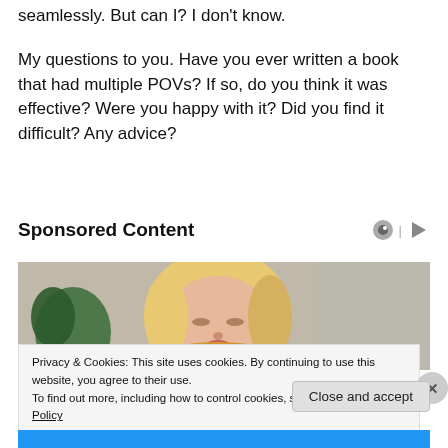seamlessly. But can I? I don't know.
My questions to you. Have you ever written a book that had multiple POVs? If so, do you think it was effective? Were you happy with it? Did you find it difficult? Any advice?
Sponsored Content
[Figure (photo): A blonde woman in a yellow top looking downward, with green plants in the background]
Privacy & Cookies: This site uses cookies. By continuing to use this website, you agree to their use.
To find out more, including how to control cookies, see here: Cookie Policy
Close and accept